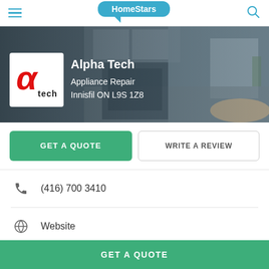HomeStars
[Figure (screenshot): Alpha Tech Appliance Repair business listing banner on HomeStars website, showing company logo (red alpha symbol with 'tech' text), business name, category, and location]
Alpha Tech
Appliance Repair
Innisfil ON L9S 1Z8
GET A QUOTE
WRITE A REVIEW
(416) 700 3410
Website
HomeStars > Appliance Repair > Alpha Tech
GET A QUOTE